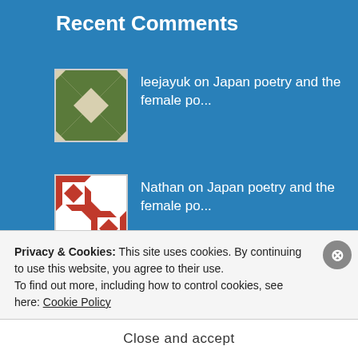Recent Comments
leejayuk on Japan poetry and the female po...
Nathan on Japan poetry and the female po...
the #1 Itinerary on Net Neutrality debate goes ful...
leejayuk on Venezuela braced for violence...
Privacy & Cookies: This site uses cookies. By continuing to use this website, you agree to their use.
To find out more, including how to control cookies, see here: Cookie Policy
Close and accept